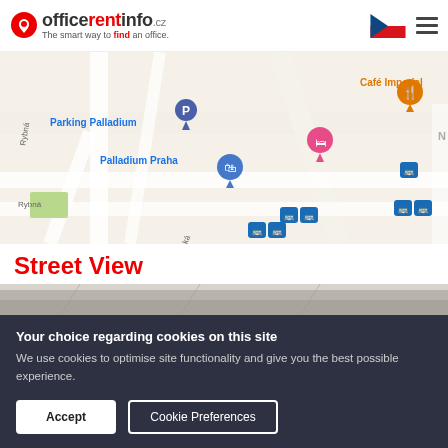officerentinfo.cz — The smart way to find an office.
[Figure (map): Google Map showing area around Palladium Praha, Prague. Shows Parking Palladium with blue P marker, Palladium Praha with blue shopping bag marker, Café Imperial with orange restaurant marker, a pink hotel marker, tram/bus stop icons, street names Rybná and Truhlářská.]
Street View
[Figure (photo): Street View partial image showing top portion of a building/street]
Your choice regarding cookies on this site
We use cookies to optimise site functionality and give you the best possible experience.
Accept
Cookie Preferences